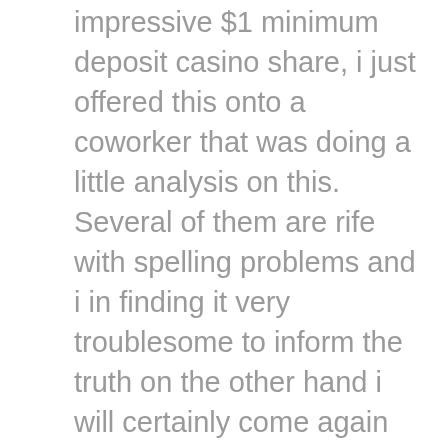betting guidelines. An impressive $1 minimum deposit casino share, i just offered this onto a coworker that was doing a little analysis on this. Several of them are rife with spelling problems and i in finding it very troublesome to inform the truth on the other hand i will certainly come again again. This stops them from needing to unpack the entire luggage each morning, and also reduces the possibility of items being forgotten in the home. Certainly if you like pirate shows, then its a no brainer, you have to watch it. I simply would like to give you a big thumbs up for the excellent info you have free spins 247 right here on this post. Bsherr talk 18 36 10 december 2010 utc no it documents what one editor or a small handful of editors perceive to be a long standing precedent.